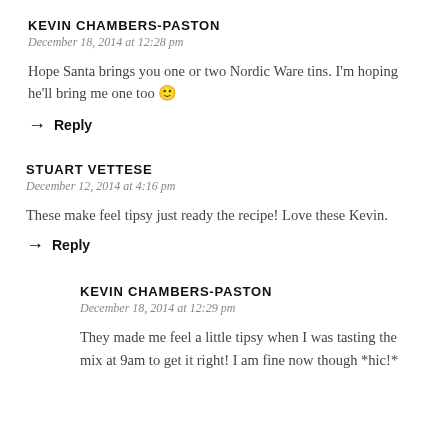KEVIN CHAMBERS-PASTON
December 18, 2014 at 12:28 pm
Hope Santa brings you one or two Nordic Ware tins. I'm hoping he'll bring me one too 🙂
→ Reply
STUART VETTESE
December 12, 2014 at 4:16 pm
These make feel tipsy just ready the recipe! Love these Kevin.
→ Reply
KEVIN CHAMBERS-PASTON
December 18, 2014 at 12:29 pm
They made me feel a little tipsy when I was tasting the mix at 9am to get it right! I am fine now though *hic!*